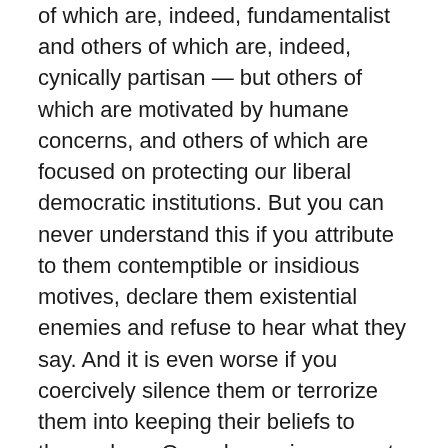of which are, indeed, fundamentalist and others of which are, indeed, cynically partisan — but others of which are motivated by humane concerns, and others of which are focused on protecting our liberal democratic institutions. But you can never understand this if you attribute to them contemptible or insidious motives, declare them existential enemies and refuse to hear what they say. And it is even worse if you coercively silence them or terrorize them into keeping their beliefs to themselves. Our adversaries are not our enemies, and if they sometimes get their way at the expense of us getting ours, this does not constitute an existential threat. But seeing every deep disagreement as a threat, paradoxically is. Turning every disagreement into a literal life-threatening emergency is. It is to our own advantage to understand the full validity of our adversaries' positions, because this helps us see that they are not monsters, not enemies.
This is the position I have stated, and which my angry